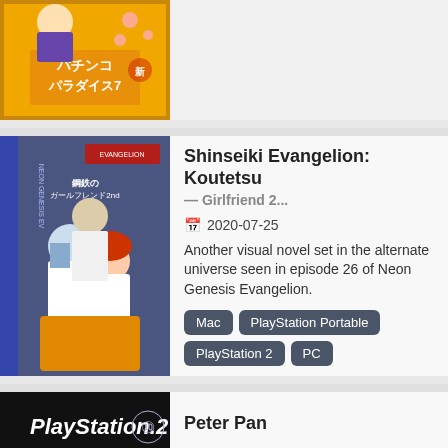[Figure (screenshot): Top card showing a Japanese pachinko game cover art with anime characters and Japanese text パチンコパラダイス7 on yellow/orange background]
[Figure (screenshot): Shinseiki Evangelion: Koutetsu no Girlfriend 2nd game cover art showing anime characters from Neon Genesis Evangelion on blue/purple background]
Shinseiki Evangelion: Koutetsu
2020-07-25
Another visual novel set in the alternate universe seen in episode 26 of Neon Genesis Evangelion.
Mac
PlayStation Portable
PlayStation 2
PC
[Figure (screenshot): PlayStation 2 logo on black background with PlayStation brand mark]
Peter Pan